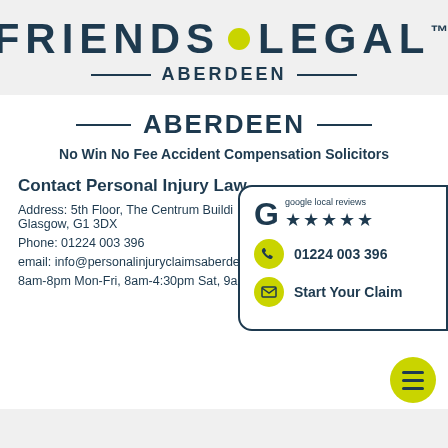[Figure (logo): Friends Legal logo with yellow dot between FRIENDS and LEGAL, superscript TM, and ABERDEEN subtitle with decorative lines]
ABERDEEN
No Win No Fee Accident Compensation Solicitors
Contact Personal Injury Lawyers
Address: 5th Floor, The Centrum Building, Glasgow, G1 3DX
Phone: 01224 003 396
email: info@personalinjuryclaimsaberdeen.co.uk
8am-8pm Mon-Fri, 8am-4:30pm Sat, 9am-6pm Sun
[Figure (infographic): Google local reviews 5-star box with phone number 01224 003 396 and Start Your Claim button]